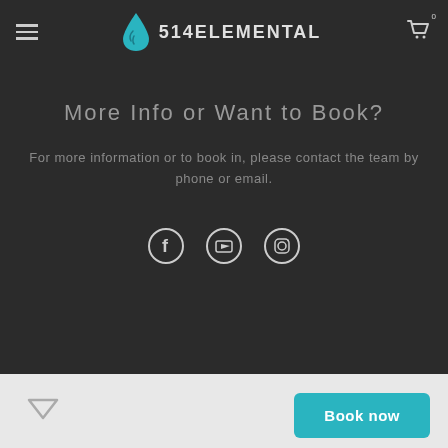514ELEMENTAL
More Info or Want to Book?
For more information or to book in, please contact the team by phone or email.
[Figure (other): Social media icons: Facebook, YouTube, Instagram]
[Figure (other): Down arrow chevron icon]
Book now